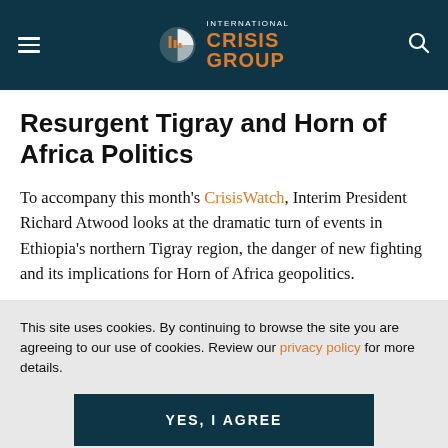International Crisis Group
Resurgent Tigray and Horn of Africa Politics
To accompany this month's CrisisWatch, Interim President Richard Atwood looks at the dramatic turn of events in Ethiopia's northern Tigray region, the danger of new fighting and its implications for Horn of Africa geopolitics.
This site uses cookies. By continuing to browse the site you are agreeing to our use of cookies. Review our privacy policy for more details.
YES, I AGREE